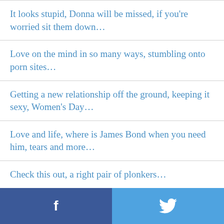It looks stupid, Donna will be missed, if you're worried sit them down…
Love on the mind in so many ways, stumbling onto porn sites…
Getting a new relationship off the ground, keeping it sexy, Women's Day…
Love and life, where is James Bond when you need him, tears and more…
Check this out, a right pair of plonkers…
Shy guys, sex toys, having babies, beauty is only skin deep…